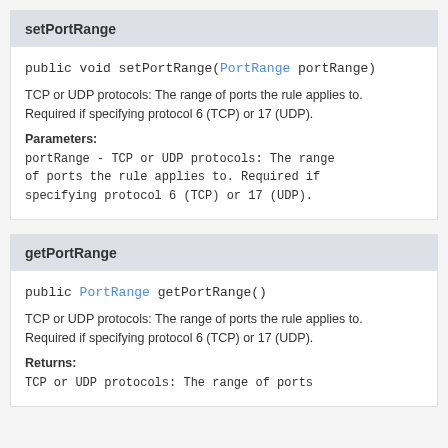setPortRange
public void setPortRange(PortRange portRange)
TCP or UDP protocols: The range of ports the rule applies to. Required if specifying protocol 6 (TCP) or 17 (UDP).
Parameters:
portRange - TCP or UDP protocols: The range of ports the rule applies to. Required if specifying protocol 6 (TCP) or 17 (UDP).
getPortRange
public PortRange getPortRange()
TCP or UDP protocols: The range of ports the rule applies to. Required if specifying protocol 6 (TCP) or 17 (UDP).
Returns:
TCP or UDP protocols: The range of ports